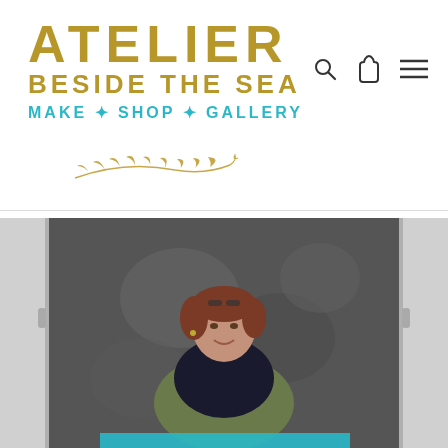ATELIER BESIDE THE SEA — MAKE * SHOP * GALLERY
[Figure (logo): Atelier Beside the Sea logo with golden leaf branch illustration]
[Figure (photo): A woman wearing a paint-stained apron standing in front of a dark textured backdrop in an art studio, smiling at the camera]